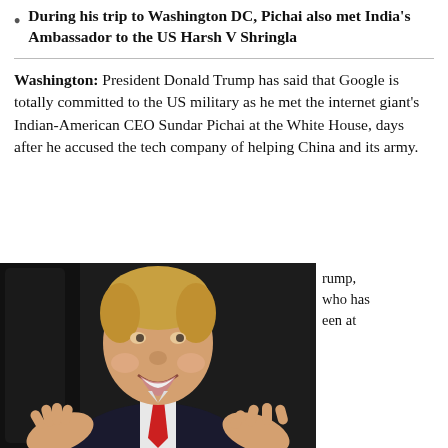During his trip to Washington DC, Pichai also met India's Ambassador to the US Harsh V Shringla
Washington: President Donald Trump has said that Google is totally committed to the US military as he met the internet giant's Indian-American CEO Sundar Pichai at the White House, days after he accused the tech company of helping China and its army.
[Figure (photo): Photo of Donald Trump smiling with hands raised, wearing dark suit and red tie, standing in front of a dark background]
rump, who has een at